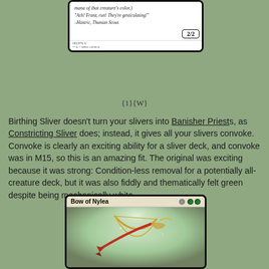[Figure (illustration): Magic: The Gathering card (partial) showing flavor text 'Ach! Franz, run! They're gesticulating!' attributed to Hastric, Thunian Scout, with power/toughness 2/2 and set info 002/076 U, art by Mike George]
{1}{W}
Birthing Sliver doesn't turn your slivers into Banisher Priests, as Constricting Sliver does; instead, it gives all your slivers convoke. Convoke is clearly an exciting ability for a sliver deck, and convoke was in M15, so this is an amazing fit. The original was exciting because it was strong: Condition-less removal for a potentially all-creature deck, but it was also fiddly and thematically felt green despite being mechanically white.
[Figure (illustration): Magic: The Gathering card 'Bow of Nylea' showing art of a golden bow with a red-clawed creature, green misty background]